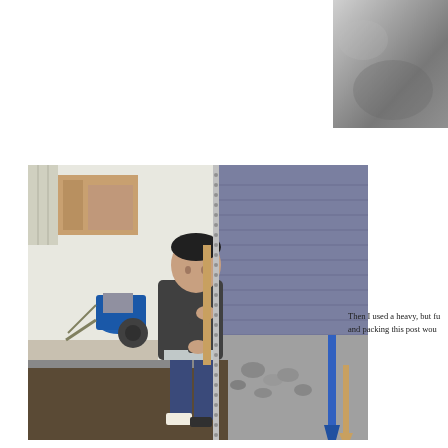[Figure (photo): Grayscale photo of concrete or ground surface, top right corner]
[Figure (photo): A young boy holding a long metal post/rod outdoors, with a blue wheelbarrow, gravel, and a house wall in the background. A blue shovel is visible on the right side.]
Then I used a heavy, but fu and packing this post wou